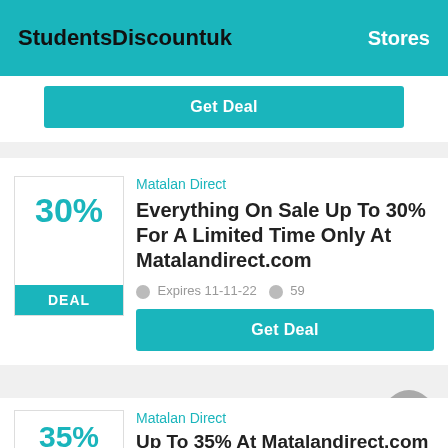StudentsDiscountuk   Stores
Get Deal
Matalan Direct
Everything On Sale Up To 30% For A Limited Time Only At Matalandirect.com
Expires 11-11-22   59
Get Deal
Matalan Direct
Up To 35% At Matalandirect.com